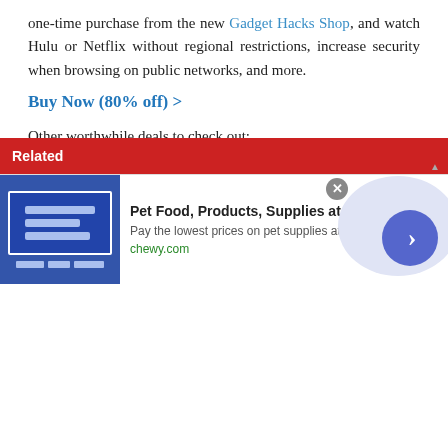one-time purchase from the new Gadget Hacks Shop, and watch Hulu or Netflix without regional restrictions, increase security when browsing on public networks, and more.
Buy Now (80% off) >
Other worthwhile deals to check out:
41% off a home Wi-Fi analyzer
98% off a learn to code bundle
98% off an accounting bootcamp
59% off the XSplit VCam video background editor
Cover photo by Justin Meyers/Gadget Hacks; Screenshots by Jon Knight/Gadget Hacks
[Figure (screenshot): Advertisement banner for Chewy.com: Pet Food, Products, Supplies at Low Prices - Pay the lowest prices on pet supplies at Chewy.com]